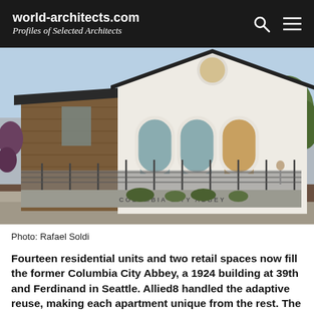world-architects.com
Profiles of Selected Architects
[Figure (photo): Exterior photograph of Columbia City Abbey building in Seattle — a white stucco church-like facade with arched windows and a circular window in the gable, combined with a modern wood-clad addition, metal railing along the front walkway, and landscaping. Sign reads 'COLUMBIA CITY ABBEY'.]
Photo: Rafael Soldi
Fourteen residential units and two retail spaces now fill the former Columbia City Abbey, a 1924 building at 39th and Ferdinand in Seattle. Allied8 handled the adaptive reuse, making each apartment unique from the rest. The Seattle